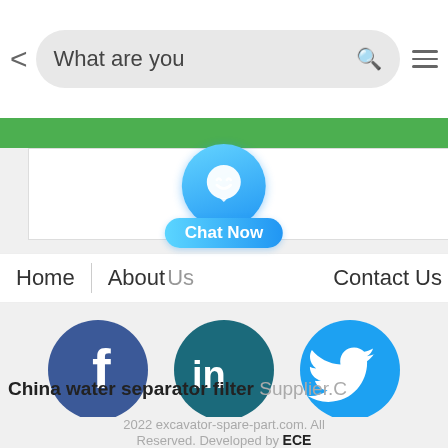[Figure (screenshot): Mobile browser search bar with back arrow, search input showing 'What are you', green search icon, and hamburger menu icon]
[Figure (screenshot): Green navigation tab bar and white content card partially visible]
[Figure (screenshot): Blue circular chat button with smiley face icon and 'Chat Now' label]
Home | About Us | Contact Us
[Figure (screenshot): Social media icons: Facebook (dark blue), LinkedIn (teal), Twitter (light blue)]
China water separator filter Supplier.C
2022 excavator-spare-part.com. All Reserved. Developed by ECE